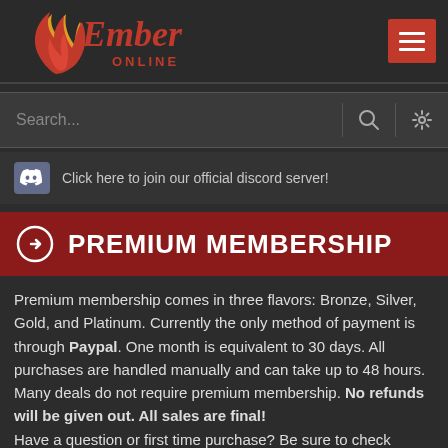[Figure (logo): Ember Online logo with flame graphic and red text]
Search...
Click here to join our official discord server!
PREMIUM MEMBERSHIP
Premium membership comes in three flavors: Bronze, Silver, Gold, and Platinum. Currently the only method of payment is through Paypal. One month is equivalent to 30 days. All purchases are handled manually and can take up to 48 hours. Many deals do not require premium membership. No refunds will be given out. All sales are final! Have a question or first time purchase? Be sure to check